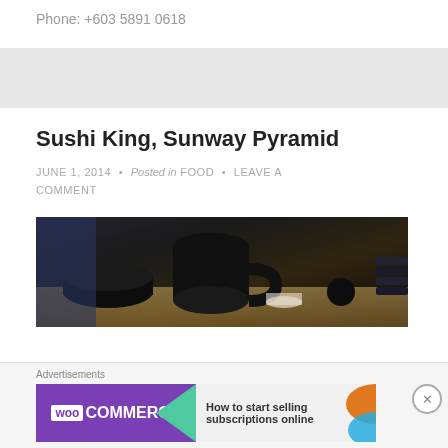Phone: +603 5891 0618
[Figure (photo): Dark restaurant tableware scene — black cups, bowls and sushi dishes on a wooden table at Sushi King]
Sushi King, Sunway Pyramid
JUNE 1, 2014 • Posted in FOOD • LEAVE A COMMENT
[Figure (photo): Advertisement banner for WooCommerce: 'How to start selling subscriptions online']